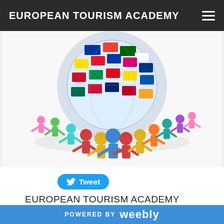EUROPEAN TOURISM ACADEMY
[Figure (illustration): Colorful paper cutout people figures holding hands in a circle around a globe covered with international flags, representing global unity and international tourism.]
Tweet
EUROPEAN TOURISM ACADEMY
The European Tourism Academy is charged with
POWERED BY weebly